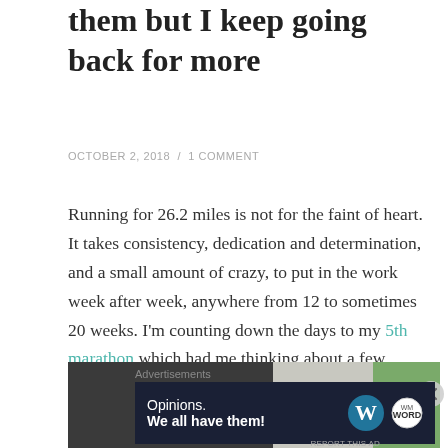them but I keep going back for more
OCTOBER 2, 2018 / 1 COMMENT
Running for 26.2 miles is not for the faint of heart. It takes consistency, dedication and determination, and a small amount of crazy, to put in the work week after week, anywhere from 12 to sometimes 20 weeks. I'm counting down the days to my 5th marathon which had me thinking about a few things…
[Figure (photo): A partially visible photograph split across dark, light, and green sections.]
Advertisements
[Figure (infographic): Advertisement banner: 'Opinions. We all have them!' with WordPress and WM logos on dark navy background.]